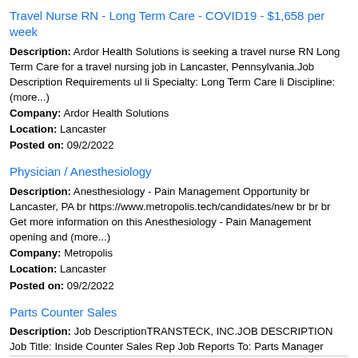Travel Nurse RN - Long Term Care - COVID19 - $1,658 per week
Description: Ardor Health Solutions is seeking a travel nurse RN Long Term Care for a travel nursing job in Lancaster, Pennsylvania.Job Description Requirements ul li Specialty: Long Term Care li Discipline: (more...) Company: Ardor Health Solutions Location: Lancaster Posted on: 09/2/2022
Physician / Anesthesiology
Description: Anesthesiology - Pain Management Opportunity br Lancaster, PA br https://www.metropolis.tech/candidates/new br br br Get more information on this Anesthesiology - Pain Management opening and (more...) Company: Metropolis Location: Lancaster Posted on: 09/2/2022
Parts Counter Sales
Description: Job DescriptionTRANSTECK, INC.JOB DESCRIPTION Job Title: Inside Counter Sales Rep Job Reports To: Parts Manager